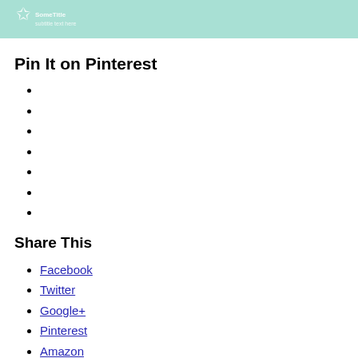[Figure (illustration): Teal/mint colored header banner with a white logo or illustrative graphic on the left side]
Pin It on Pinterest
Share This
Facebook
Twitter
Google+
Pinterest
Amazon
LinkedIn
Myspace